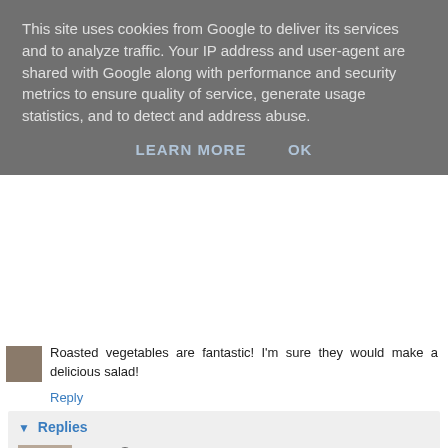This site uses cookies from Google to deliver its services and to analyze traffic. Your IP address and user-agent are shared with Google along with performance and security metrics to ensure quality of service, generate usage statistics, and to detect and address abuse.
LEARN MORE   OK
Roasted vegetables are fantastic! I'm sure they would make a delicious salad!
Reply
Replies
Amy  July 27, 2012 at 2:33 PM
Thank you, Sue. :) Yes, so easy and delicious. Wish you and your family a wonderful weekend.
Reply